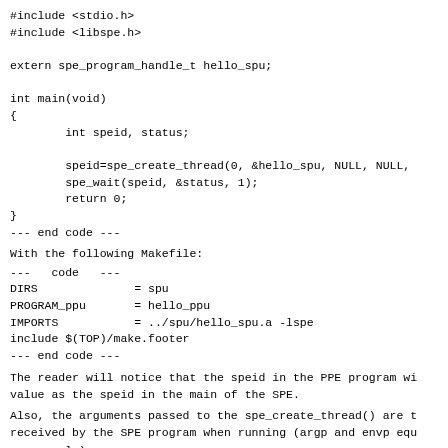#include <stdio.h>
#include <libspe.h>

extern spe_program_handle_t hello_spu;

int main(void)
{
        int speid, status;

        speid=spe_create_thread(0, &hello_spu, NULL, NULL,
        spe_wait(speid, &status, 1);
        return 0;
}
--- end code ---
With the following Makefile:
---   code   ---
DIRS              = spu
PROGRAM_ppu       = hello_ppu
IMPORTS           = ../spu/hello_spu.a -lspe
include $(TOP)/make.footer
--- end code ---
The reader will notice that the speid in the PPE program wi
value as the speid in the main of the SPE.
Also, the arguments passed to the spe_create_thread() are t
received by the SPE program when running (argp and envp equ
our sample).
Important to remember that when compiled this program will